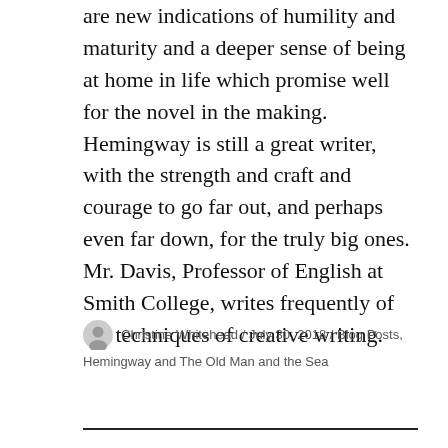are new indications of humility and maturity and a deeper sense of being at home in life which promise well for the novel in the making. Hemingway is still a great writer, with the strength and craft and courage to go far out, and perhaps even far down, for the truly big ones.
Mr. Davis, Professor of English at Smith College, writes frequently of the techniques of creative writing.
Christine Whitehead / July 30, 2018 / Blog Posts, Hemingway and The Old Man and the Sea